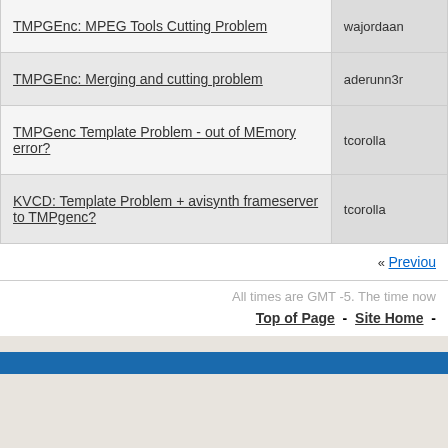| Topic | Author |
| --- | --- |
| TMPGEnc: MPEG Tools Cutting Problem | wajordaan |
| TMPGEnc: Merging and cutting problem | aderunn3r |
| TMPGenc Template Problem - out of MEmory error? | tcorolla |
| KVCD: Template Problem + avisynth frameserver to TMPgenc? | tcorolla |
« Previou
All times are GMT -5. The time now
Top of Page  -  Site Home  -